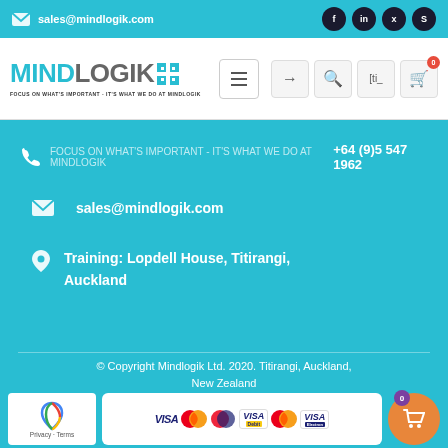sales@mindlogik.com
[Figure (logo): MindLogik logo with teal MIND and gray LOGIK text and tagline]
+64 (9)5 547 1962
sales@mindlogik.com
Training: Lopdell House, Titirangi, Auckland
© Copyright Mindlogik Ltd. 2020. Titirangi, Auckland, New Zealand
[Figure (logo): reCAPTCHA Privacy - Terms badge]
[Figure (other): Payment logos: VISA, Mastercard, Maestro, VISA Debit, Mastercard Debit, VISA Electron]